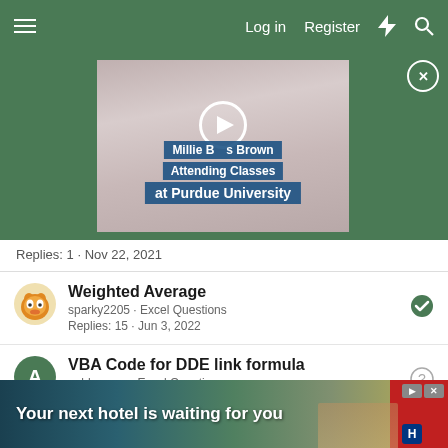Log in  Register
[Figure (screenshot): Video thumbnail: Millie Bobby Brown Attending Classes at Purdue University, with play button overlay]
Replies: 1 · Nov 22, 2021
Weighted Average
sparky2205 · Excel Questions
Replies: 15 · Jun 3, 2022
VBA Code for DDE link formula
anbhavane · Excel Questions
Replies: 0 · Jul 27, 2022
I having some problems with my pick them
[Figure (screenshot): Ad banner: Your next hotel is waiting for you]